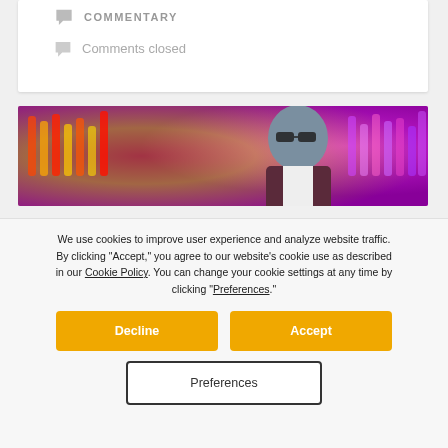COMMENTARY
Comments closed
[Figure (photo): A middle-aged man with glasses and a beard wearing a dark vest, looking at colorful bottle-lined shelves backlit with red and yellow lighting — a bar scene.]
We use cookies to improve user experience and analyze website traffic. By clicking “Accept,” you agree to our website’s cookie use as described in our Cookie Policy. You can change your cookie settings at any time by clicking “Preferences.”
Decline
Accept
Preferences